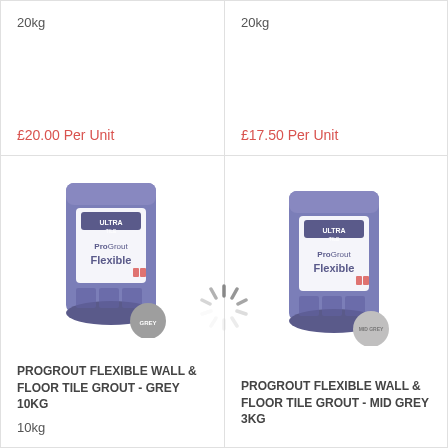20kg
£20.00 Per Unit
20kg
£17.50 Per Unit
[Figure (photo): Ultra Tile Pro Grout Flexible bag, grey, 10kg with grey color swatch]
PROGROUT FLEXIBLE WALL & FLOOR TILE GROUT - GREY 10KG
10kg
[Figure (photo): Ultra Tile Pro Grout Flexible bag, mid grey, 3kg with mid grey color swatch]
PROGROUT FLEXIBLE WALL & FLOOR TILE GROUT - MID GREY 3KG